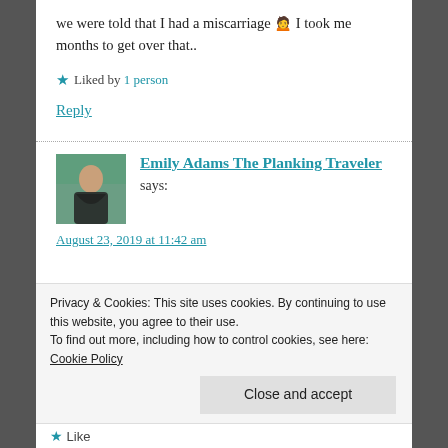we were told that I had a miscarriage 🙍 I took me months to get over that..
★ Liked by 1 person
Reply
Emily Adams The Planking Traveler says:
August 23, 2019 at 11:42 am
Privacy & Cookies: This site uses cookies. By continuing to use this website, you agree to their use.
To find out more, including how to control cookies, see here: Cookie Policy
Close and accept
★ Like